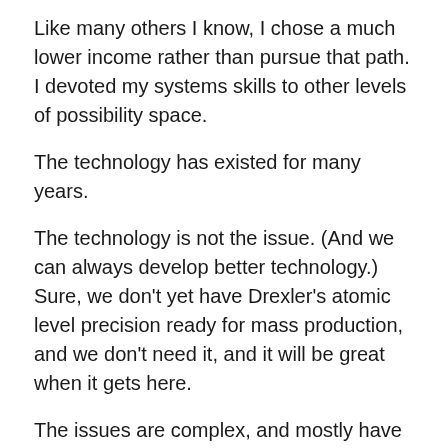Like many others I know, I chose a much lower income rather than pursue that path. I devoted my systems skills to other levels of possibility space.
The technology has existed for many years.
The technology is not the issue. (And we can always develop better technology.) Sure, we don’t yet have Drexler’s atomic level precision ready for mass production, and we don’t need it, and it will be great when it gets here.
The issues are complex, and mostly have to do with the ways in which we think about things, the ways we value things.
All people use heuristic “hacks” when making value judgments.